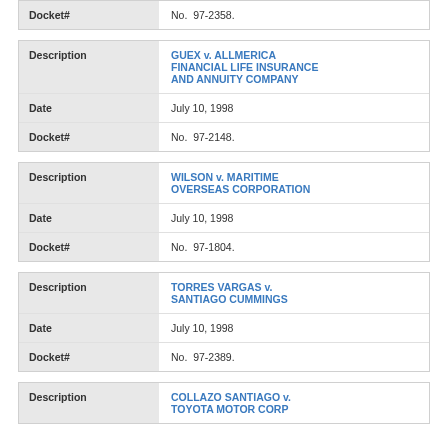| Field | Value |
| --- | --- |
| Docket# | No.  97-2358. |
| Field | Value |
| --- | --- |
| Description | GUEX v. ALLMERICA FINANCIAL LIFE INSURANCE AND ANNUITY COMPANY |
| Date | July 10, 1998 |
| Docket# | No.  97-2148. |
| Field | Value |
| --- | --- |
| Description | WILSON v. MARITIME OVERSEAS CORPORATION |
| Date | July 10, 1998 |
| Docket# | No.  97-1804. |
| Field | Value |
| --- | --- |
| Description | TORRES VARGAS v. SANTIAGO CUMMINGS |
| Date | July 10, 1998 |
| Docket# | No.  97-2389. |
| Field | Value |
| --- | --- |
| Description | COLLAZO SANTIAGO v. TOYOTA MOTOR CORP |